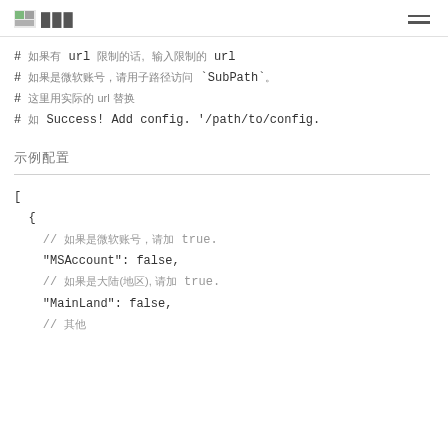图 ——— ☰
# 如果有 url 限制的话, 输入限制的 url
# 如果是微软账号，请用子路径访问 `SubPath`
# 这里用实际的 url 替换
# 如 Success! Add config. '/path/to/config.
示例配置
[
  {
    // 如果是微软账号，请加 true.
    "MSAccount": false,
    // 如果是大陆(地区), 请加 true.
    "MainLand": false,
    // 其他